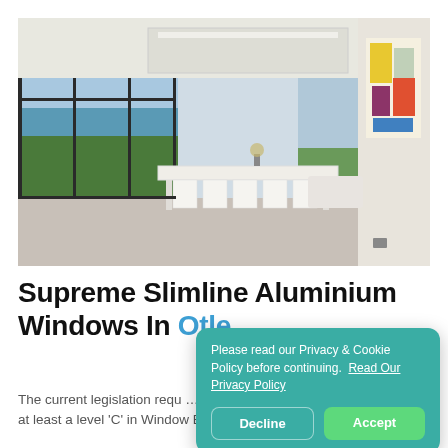[Figure (photo): Modern interior living/dining room with floor-to-ceiling aluminium framed windows on the left wall, a long white dining table with white chairs, grey floor, white ceiling with recessed lighting, and colorful abstract artwork on the right wall. Outside view shows green landscape and sea.]
Supreme Slimline Aluminium Windows In Otle...
The current legislation requ... at least a level 'C' in Window Energy Rating (WER) and
Please read our Privacy & Cookie Policy before continuing.  Read Our Privacy Policy
Decline   Accept